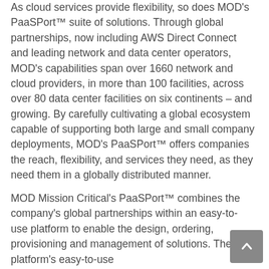As cloud services provide flexibility, so does MOD's PaaSPort™ suite of solutions. Through global partnerships, now including AWS Direct Connect and leading network and data center operators, MOD's capabilities span over 1660 network and cloud providers, in more than 100 facilities, across over 80 data center facilities on six continents – and growing. By carefully cultivating a global ecosystem capable of supporting both large and small company deployments, MOD's PaaSPort™ offers companies the reach, flexibility, and services they need, as they need them in a globally distributed manner.
MOD Mission Critical's PaaSPort™ combines the company's global partnerships within an easy-to-use platform to enable the design, ordering, provisioning and management of solutions. The platform's easy-to-use